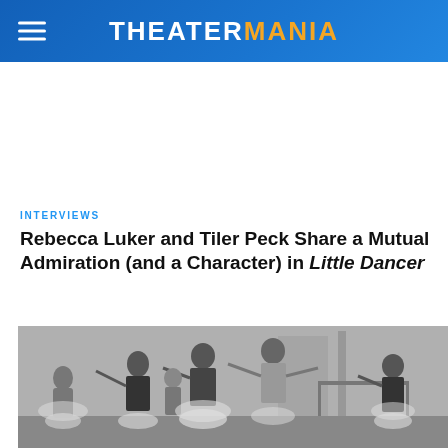THEATERMANIA
INTERVIEWS
Rebecca Luker and Tiler Peck Share a Mutual Admiration (and a Character) in Little Dancer
[Figure (photo): Black and white photo of ballet dancers rehearsing in a studio, with multiple dancers in tutus and ballet attire performing with outstretched arms.]